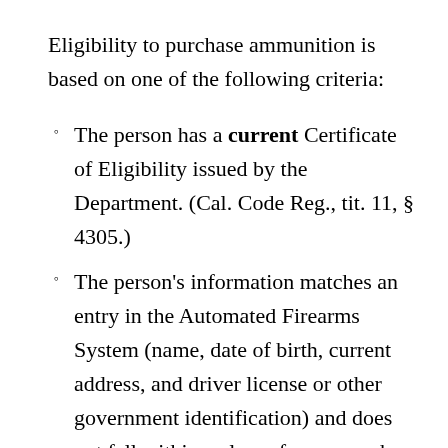Eligibility to purchase ammunition is based on one of the following criteria:
The person has a current Certificate of Eligibility issued by the Department. (Cal. Code Reg., tit. 11, § 4305.)
The person's information matches an entry in the Automated Firearms System (name, date of birth, current address, and driver license or other government identification) and does not fall within a class of persons who